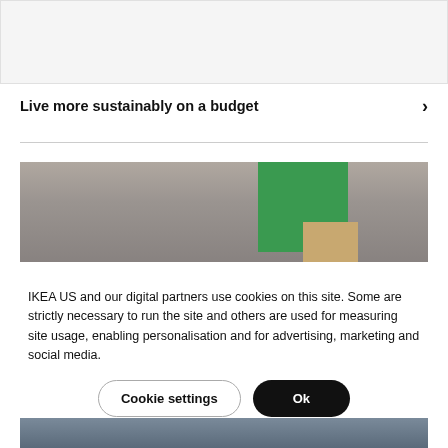[Figure (photo): Gray top image box placeholder area]
Live more sustainably on a budget
IKEA US and our digital partners use cookies on this site. Some are strictly necessary to run the site and others are used for measuring site usage, enabling personalisation and for advertising, marketing and social media.
[Figure (photo): Photo showing a room scene with green rectangular object and tan/wood colored element against a gray background]
Cookie settings
Ok
[Figure (photo): Partial bottom image showing people in blue tones]